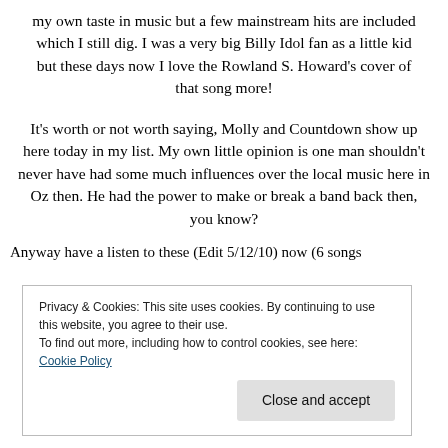my own taste in music but a few mainstream hits are included which I still dig. I was a very big Billy Idol fan as a little kid but these days now I love the Rowland S. Howard's cover of that song more!
It's worth or not worth saying, Molly and Countdown show up here today in my list. My own little opinion is one man shouldn't never have had some much influences over the local music here in Oz then. He had the power to make or break a band back then, you know?
Anyway have a listen to these (Edit 5/12/10) now (6 songs
Privacy & Cookies: This site uses cookies. By continuing to use this website, you agree to their use.
To find out more, including how to control cookies, see here: Cookie Policy
Close and accept